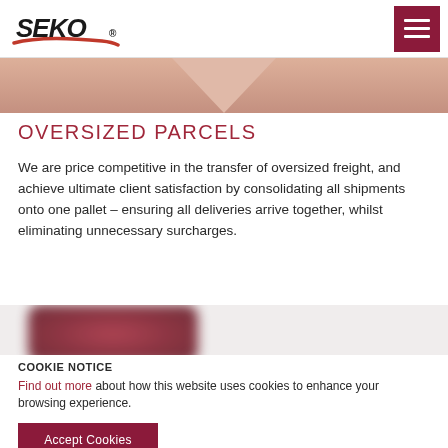SEKO
[Figure (photo): Partially visible blurred image at top of page showing a person or object in warm tones with a downward chevron/triangle shape]
OVERSIZED PARCELS
We are price competitive in the transfer of oversized freight, and achieve ultimate client satisfaction by consolidating all shipments onto one pallet – ensuring all deliveries arrive together, whilst eliminating unnecessary surcharges.
[Figure (photo): Partially visible blurred image of a dark red/maroon colored package or box]
COOKIE NOTICE
Find out more about how this website uses cookies to enhance your browsing experience.
Accept Cookies